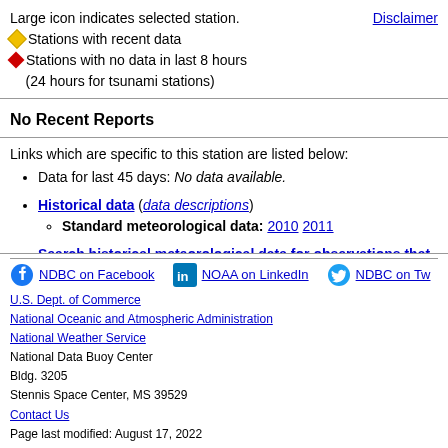Large icon indicates selected station.
◇ Stations with recent data
◆ Stations with no data in last 8 hours
    (24 hours for tsunami stations)
Disclaimer
No Recent Reports
Links which are specific to this station are listed below:
Data for last 45 days: No data available.
Historical data (data descriptions)
  ◦ Standard meteorological data: 2010  2011
Search historical meteorological data for observations that mee...
Some data files have been compressed with the GNU gzip program.
NDBC on Facebook  NOAA on LinkedIn  NDBC on Tw...
U.S. Dept. of Commerce
National Oceanic and Atmospheric Administration
National Weather Service
National Data Buoy Center
Bldg. 3205
Stennis Space Center, MS 39529
Contact Us
Page last modified: August 17, 2022